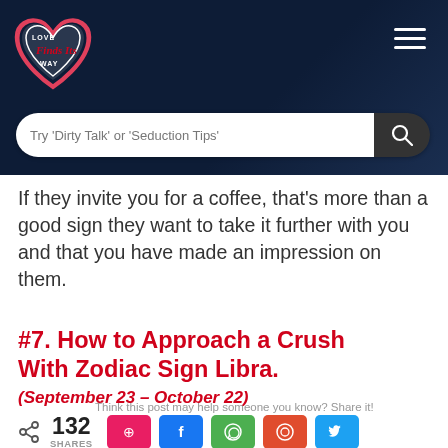[Figure (logo): Love Finds Its Way heart-shaped logo with white and red colors on dark background, with hamburger menu icon top right]
Try 'Dirty Talk' or 'Seduction Tips'
If they invite you for a coffee, that's more than a good sign they want to take it further with you and that you have made an impression on them.
#7. How to Approach a Crush With Zodiac Sign Libra.
(September 23 – October 22)
Think this post may help someone you know? Share it!
< 132 SHARES